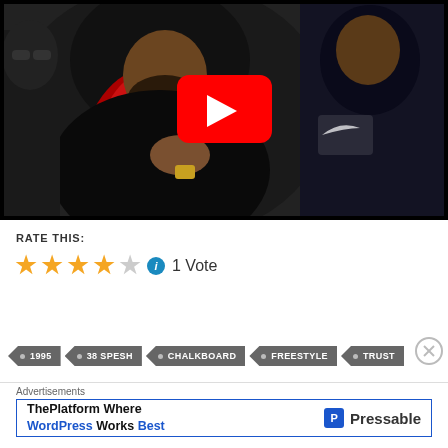[Figure (screenshot): YouTube video thumbnail showing two men in black puffer jackets, the main figure wearing a red-lined hood, with a YouTube play button overlay in the center]
RATE THIS:
★★★★☆ ℹ 1 Vote
• 1995  • 38 SPESH  • CHALKBOARD  • FREESTYLE  • TRUST
Advertisements
ThePlatform Where WordPress Works Best  P Pressable